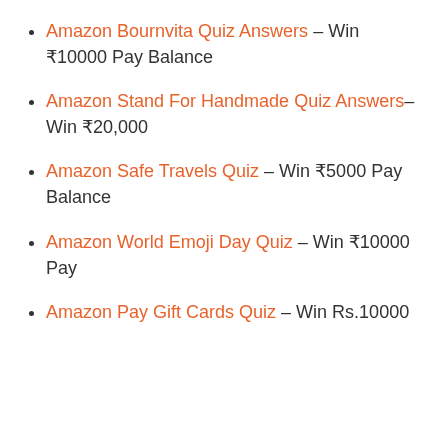Amazon Bournvita Quiz Answers – Win ₹10000 Pay Balance
Amazon Stand For Handmade Quiz Answers– Win ₹20,000
Amazon Safe Travels Quiz – Win ₹5000 Pay Balance
Amazon World Emoji Day Quiz – Win ₹10000 Pay
Amazon Pay Gift Cards Quiz – Win Rs.10000